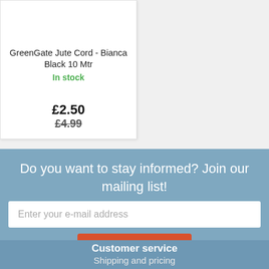GreenGate Jute Cord - Bianca Black 10 Mtr
In stock
£2.50
£4.99
Do you want to stay informed? Join our mailing list!
Enter your e-mail address
Sign up
Customer service
Shipping and pricing